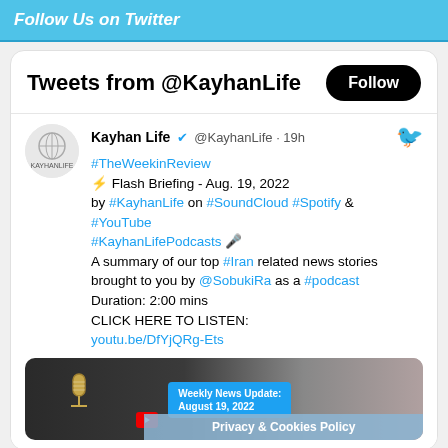Follow Us on Twitter
Tweets from @KayhanLife
Kayhan Life ✔ @KayhanLife · 19h
#TheWeekinReview
⚡ Flash Briefing - Aug. 19, 2022
by #KayhanLife on #SoundCloud #Spotify & #YouTube
#KayhanLifePodcasts 🎤
A summary of our top #Iran related news stories brought to you by @SobukiRa as a #podcast
Duration: 2:00 mins
CLICK HERE TO LISTEN:
youtu.be/DfYjQRg-Ets
[Figure (screenshot): Thumbnail image of Weekly News Update: August 19, 2022 with a microphone and a person's face visible. Privacy & Cookies Policy overlay at bottom right.]